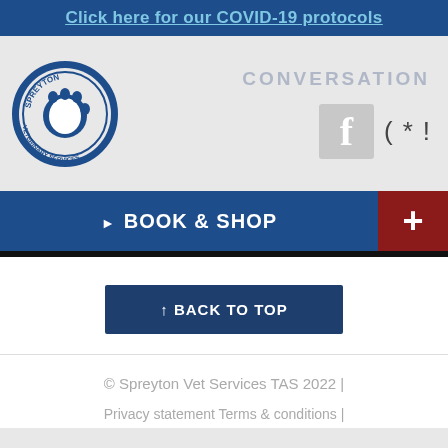Click here for our COVID-19 protocols
[Figure (logo): Spreyton Veterinary Services circular logo with paw print]
CONVERSATION
[Figure (infographic): Social media icons: Facebook f logo, and symbols ( * !]
▶ BOOK & SHOP  +
↑ BACK TO TOP
© Spreyton Vet Services TAS 2022 | Privacy statement Terms & conditions |